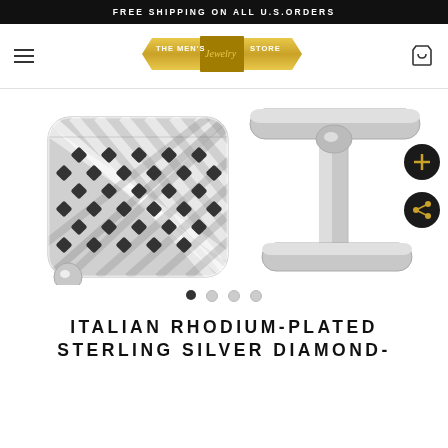FREE SHIPPING ON ALL U.S.ORDERS
[Figure (logo): The Men's Jewelry Store logo on gold badge background]
[Figure (photo): Two views of Italian rhodium-plated sterling silver diamond-cut cufflinks: front face showing woven lattice pattern, and side view showing T-bar toggle mechanism]
ITALIAN RHODIUM-PLATED STERLING SILVER DIAMOND-